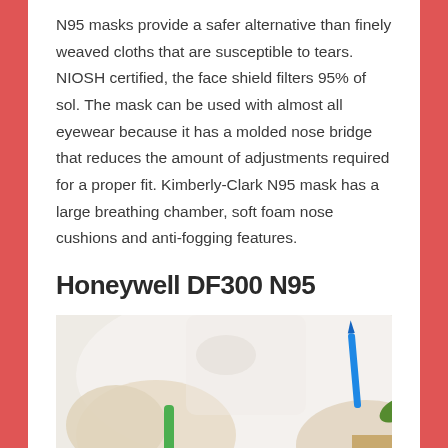N95 masks provide a safer alternative than finely weaved cloths that are susceptible to tears. NIOSH certified, the face shield filters 95% of sol. The mask can be used with almost all eyewear because it has a molded nose bridge that reduces the amount of adjustments required for a proper fit. Kimberly-Clark N95 mask has a large breathing chamber, soft foam nose cushions and anti-fogging features.
Honeywell DF300 N95
[Figure (photo): Photo of gloved hands in a medical/laboratory setting. A green container or cup is visible in the lower left, with a blue pen or instrument and plant material visible in the background. The scene suggests a medical or scientific environment.]